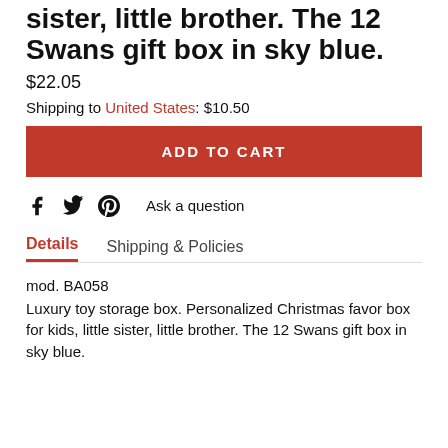sister, little brother. The 12 Swans gift box in sky blue.
$22.05
Shipping to United States: $10.50
[Figure (other): ADD TO CART button (red background, white text)]
[Figure (other): Social share icons: Facebook, Twitter, Pinterest; and Ask a question link]
Details   Shipping & Policies
mod. BA058
Luxury toy storage box. Personalized Christmas favor box for kids, little sister, little brother. The 12 Swans gift box in sky blue.